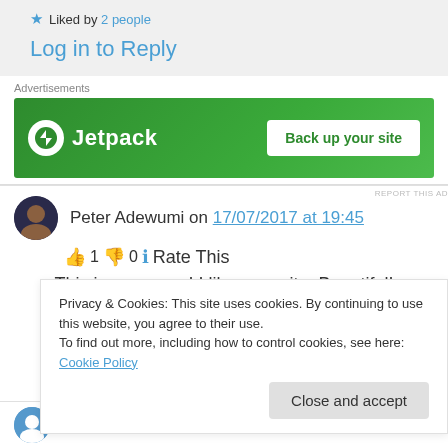★ Liked by 2 people
Log in to Reply
[Figure (screenshot): Jetpack advertisement banner: green background, Jetpack logo on left, 'Back up your site' button on right]
Peter Adewumi on 17/07/2017 at 19:45
👍 1 👎 0 ℹ Rate This
This is awesome! I like your site. Beautiful!
Privacy & Cookies: This site uses cookies. By continuing to use this website, you agree to their use.
To find out more, including how to control cookies, see here: Cookie Policy
Close and accept
Didis Art Design on 17/07/2017 at 20:36